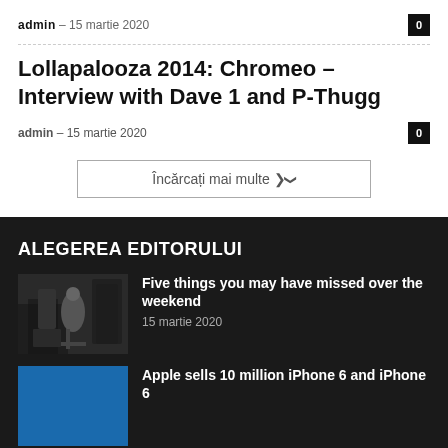admin – 15 martie 2020   0
Lollapalooza 2014: Chromeo – Interview with Dave 1 and P-Thugg
admin – 15 martie 2020   0
Încărcați mai multe ❯
ALEGEREA EDITORULUI
Five things you may have missed over the weekend
15 martie 2020
Apple sells 10 million iPhone 6 and iPhone 6